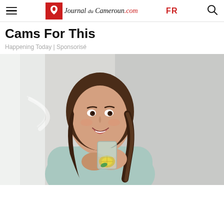Journal du Cameroun.com  FR
Cams For This
Happening Today | Sponsorisé
[Figure (photo): Smiling young woman with long brown hair holding a glass of water with lemon and mint, wearing a light blue top, photographed against a light grey background.]